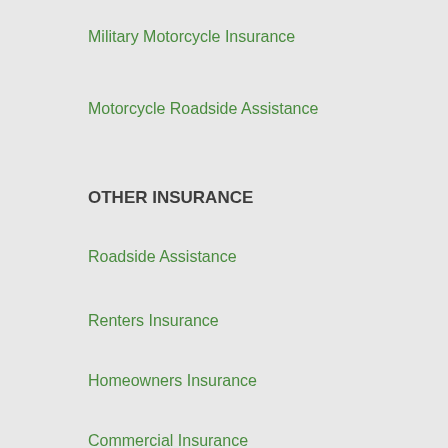Military Motorcycle Insurance
Motorcycle Roadside Assistance
OTHER INSURANCE
Roadside Assistance
Renters Insurance
Homeowners Insurance
Commercial Insurance
Pet Insurance
Life Insurance
Travel Insurance
TeleMed
INFORMATION
FAQ